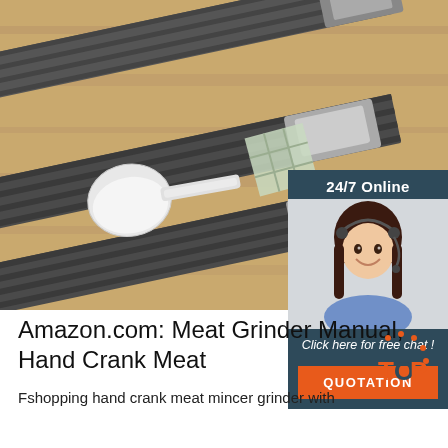[Figure (photo): Kitchen utensils and tools on wooden surface — spatulas, knives arranged diagonally, with a white ceramic spoon, potato, and small bowl visible]
[Figure (infographic): 24/7 Online overlay panel with a woman wearing a headset (customer service representative), text 'Click here for free chat!' and an orange QUOTATION button]
Amazon.com: Meat Grinder Manual, Hand Crank Meat
[Figure (logo): TOP logo in orange and dark navy — circular dot arrangement above the word TOP in orange]
Fshopping hand crank meat mincer grinder with